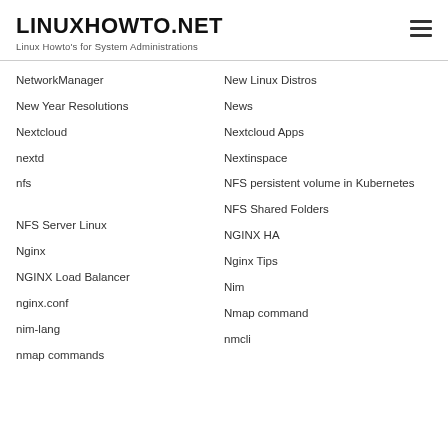LINUXHOWTO.NET
Linux Howto's for System Administrations
NetworkManager
New Linux Distros
New Year Resolutions
News
Nextcloud
Nextcloud Apps
nextd
Nextinspace
nfs
NFS persistent volume in Kubernetes
NFS Server Linux
NFS Shared Folders
Nginx
NGINX HA
NGINX Load Balancer
Nginx Tips
nginx.conf
Nim
nim-lang
Nmap command
nmap commands
nmcli